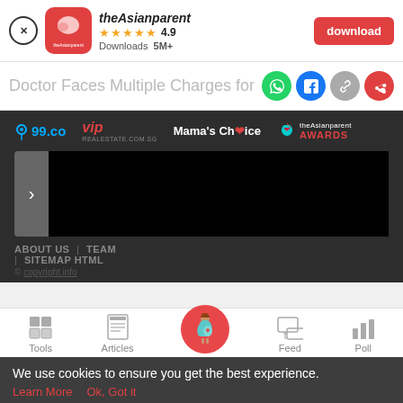[Figure (screenshot): App download banner for theAsianparent app showing close button, app icon, name, 4.9 star rating, 5M+ downloads, and a red download button]
Doctor Faces Multiple Charges for Ta
[Figure (screenshot): Dark navigation bar showing partner logos: 99.co, vip, Mama's Choice, theAsianparent Awards, with a carousel arrow and black content area, plus ABOUT US | TEAM | SITEMAP HTML footer links]
[Figure (screenshot): Bottom app navigation bar with Tools, Articles, center pregnant woman icon, Feed, and Poll tabs]
We use cookies to ensure you get the best experience.
Learn More   Ok, Got it